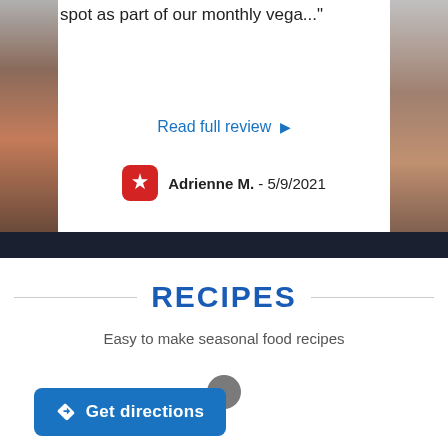spot as part of our monthly vega..."
Read full review ▶
Adrienne M. - 5/9/2021
[Figure (screenshot): Dark strip photo below review card]
RECIPES
Easy to make seasonal food recipes
[Figure (other): Dark gray circle pagination dot]
Get directions